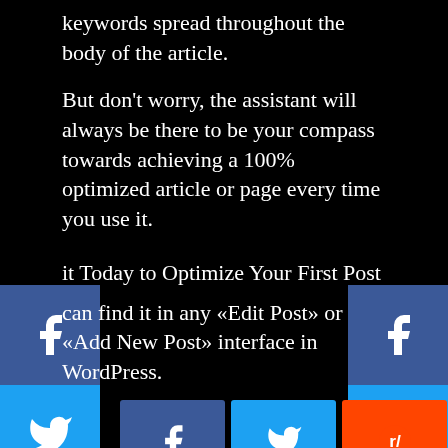keywords spread throughout the body of the article.
But don't worry, the assistant will always be there to be your compass towards achieving a 100% optimized article or page every time you use it.
it Today to Optimize Your First Post
can find it in any «Edit Post» or «Add New Post» interface in WordPress.
[Figure (infographic): Social share buttons row: Facebook (blue), Twitter (cyan), Reddit (orange), Pinterest (red), VK (steel blue), Email (gray)]
[Figure (infographic): Left-side floating social bar: Facebook, Twitter, Reddit, Pinterest, VK, Email buttons]
[Figure (infographic): Right-side floating social bar: Facebook, Twitter, Reddit, Pinterest, VK, Email buttons]
все записи
ыбалка на карася на поплавок
ловля Карася На Поплавочную Удочку — Снасти